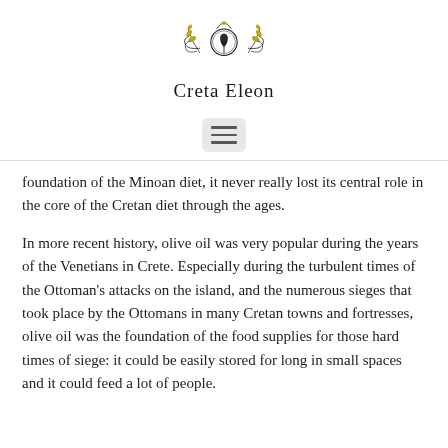[Figure (logo): Creta Eleon decorative logo with olive branches, scrolls, and a central tree emblem]
Creta Eleon
[Figure (other): Hamburger menu button with three horizontal lines on a light grey rounded rectangle background]
foundation of the Minoan diet, it never really lost its central role in the core of the Cretan diet through the ages.
In more recent history, olive oil was very popular during the years of the Venetians in Crete. Especially during the turbulent times of the Ottoman’s attacks on the island, and the numerous sieges that took place by the Ottomans in many Cretan towns and fortresses, olive oil was the foundation of the food supplies for those hard times of siege: it could be easily stored for long in small spaces and it could feed a lot of people.